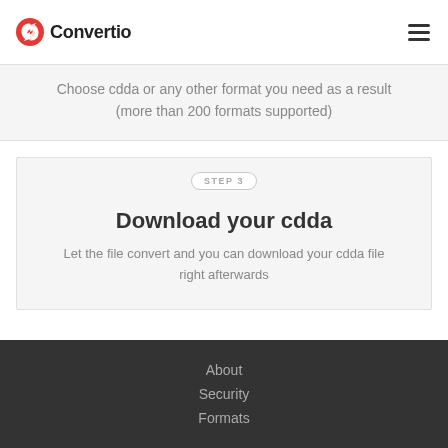Convertio
Choose cdda or any other format you need as a result (more than 200 formats supported)
STEP 3
Download your cdda
Let the file convert and you can download your cdda file right afterwards
About Security Formats